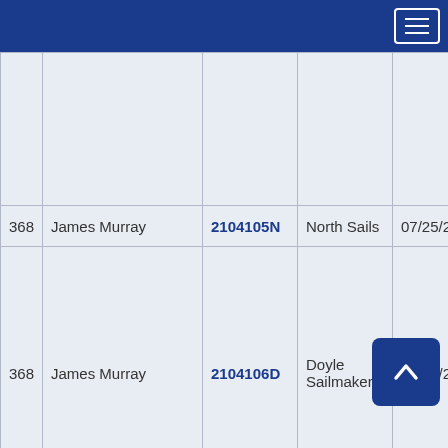Navigation header with hamburger menu
| # | Name | Code | Maker | Date |
| --- | --- | --- | --- | --- |
|  |  |  |  |  |
| 368 | James Murray | 2104105N | North Sails | 07/25/2 |
| 368 | James Murray | 2104106D | Doyle Sailmakers | 06/02/2 |
|  |  |  | Doyle |  |